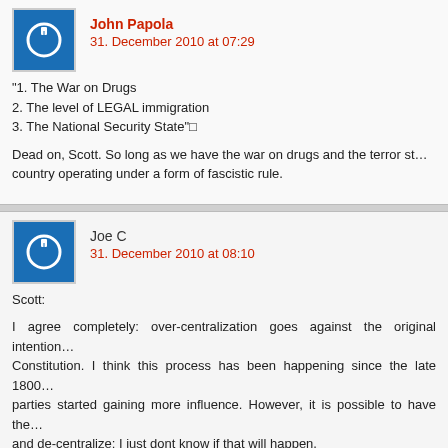John Papola
31. December 2010 at 07:29
“1. The War on Drugs
2. The level of LEGAL immigration
3. The National Security State”□

Dead on, Scott. So long as we have the war on drugs and the terror st... country operating under a form of fascistic rule.
Joe C
31. December 2010 at 08:10
Scott:

I agree completely: over-centralization goes against the original intention... Constitution. I think this process has been happening since the late 1800... parties started gaining more influence. However, it is possible to have the... and de-centralize; I just dont know if that will happen.

I worked for state govt for a while where the problems of centralization are... evident. Well, at least to some. The states cant do much to change th... medicare policies without bowing down to the all mighty federal governmen...